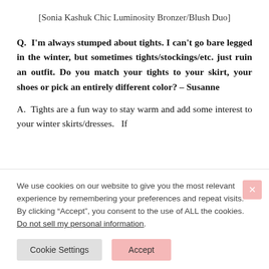[Sonia Kashuk Chic Luminosity Bronzer/Blush Duo]
Q.  I'm always stumped about tights. I can't go bare legged in the winter, but sometimes tights/stockings/etc. just ruin an outfit. Do you match your tights to your skirt, your shoes or pick an entirely different color? – Susanne
A.  Tights are a fun way to stay warm and add some interest to your winter skirts/dresses.   If
We use cookies on our website to give you the most relevant experience by remembering your preferences and repeat visits. By clicking "Accept", you consent to the use of ALL the cookies. Do not sell my personal information.
Cookie Settings   Accept